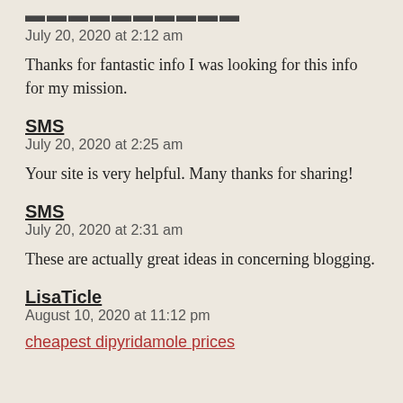≡≡≡≡≡≡≡≡≡≡
July 20, 2020 at 2:12 am
Thanks for fantastic info I was looking for this info for my mission.
SMS
July 20, 2020 at 2:25 am
Your site is very helpful. Many thanks for sharing!
SMS
July 20, 2020 at 2:31 am
These are actually great ideas in concerning blogging.
LisaTicle
August 10, 2020 at 11:12 pm
cheapest dipyridamole prices